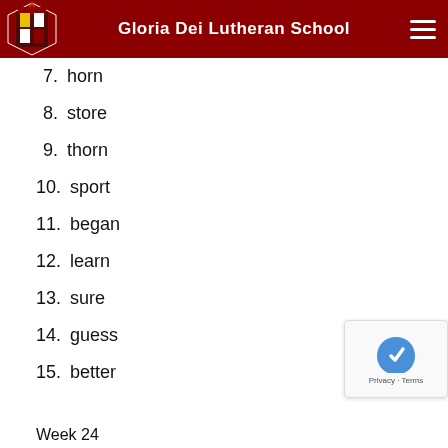Gloria Dei Lutheran School
7. horn
8. store
9. thorn
10. sport
11. began
12. learn
13. sure
14. guess
15. better
Week 24